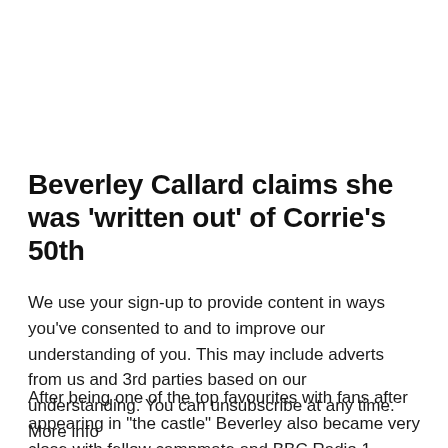Beverley Callard claims she was 'written out' of Corrie's 50th
We use your sign-up to provide content in ways you've consented to and to improve our understanding of you. This may include adverts from us and 3rd parties based on our understanding. You can unsubscribe at any time. More info
After being one of the top favourites with fans after appearing in "the castle" Beverley also became very close with fellow campmate and BBC Radio 1 presenter Jordan North. The incredible friendship between the two has